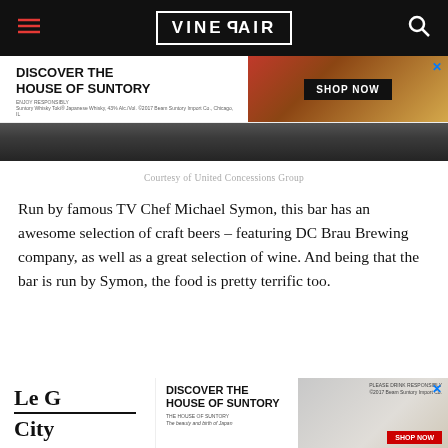VinePair
[Figure (photo): Advertisement banner for House of Suntory with 'DISCOVER THE HOUSE OF SUNTORY' text and Shop Now button with bottle image]
[Figure (photo): Restaurant/bar interior photo strip showing people seated at a bar]
Courtesy of United Concessions Group
Run by famous TV Chef Michael Symon, this bar has an awesome selection of craft beers – featuring DC Brau Brewing company, as well as a great selection of wine. And being that the bar is run by Symon, the food is pretty terrific too.
[Figure (photo): Advertisement banner for House of Suntory with bottle images and Shop Now button at bottom of page]